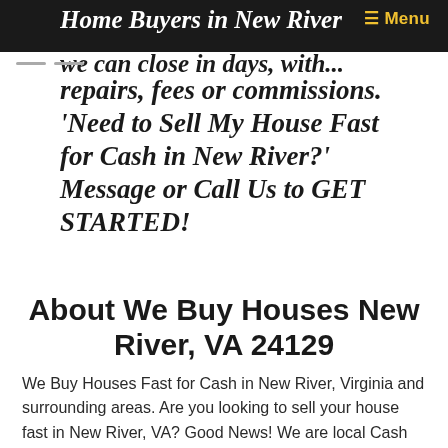Home Buyers in New River we can close in days, with... ☰ Menu
repairs, fees or commissions. 'Need to Sell My House Fast for Cash in New River?' Message or Call Us to GET STARTED!
About We Buy Houses New River, VA 24129
We Buy Houses Fast for Cash in New River, Virginia and surrounding areas. Are you looking to sell your house fast in New River, VA? Good News! We are local Cash Home Buyers in New River, Virginia. Whether you just want to sell your house fast, sell as-is without making any repairs or improvements to...